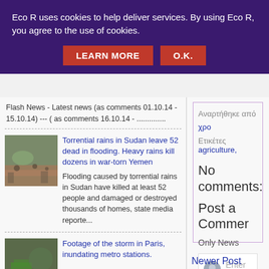Eco R uses cookies to help deliver services. By using Eco R, you agree to the use of cookies.
LEARN MORE   O.K.
Flash News - Latest news (as comments 01.10.14 - 15.10.14) --- ( as comments 16.10.14 - ..............
[Figure (photo): Flooding scene photo — people wading through flood water in Sudan]
Torrential rains in Sudan leave 52 dead in flooding. Heavy rains kill dozens in war-torn Yemen
Flooding caused by torrential rains in Sudan have killed at least 52 people and damaged or destroyed thousands of homes, state media reporte...
[Figure (photo): Storm footage photo — green truck amid storm debris in Paris]
Footage of the storm in Paris, inundating metro stations.
-
Αναρτήθηκε από χρο
Ετικέτες agriculture,
No comments:
Post a Commer
Only News
Enter Co
Newer Post